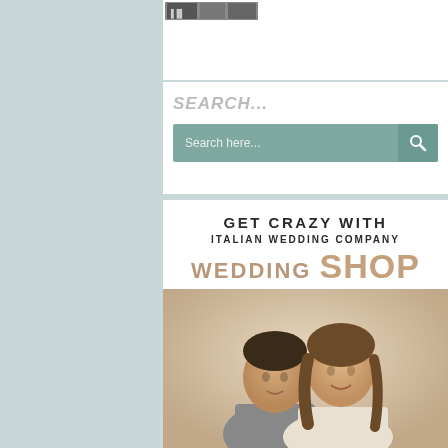[Figure (photo): Partial view of a wedding photo at the top of the card]
[Figure (screenshot): Search interface with 'SEARCH...' label and a teal search bar with placeholder text 'Search here...' and a magnifying glass icon]
[Figure (photo): Advertisement banner for Italian Wedding Company Wedding Shop, showing text 'GET CRAZY WITH ITALIAN WEDDING COMPANY WEDDING SHOP' over a photo of a smiling couple, man in grey suit and woman in white dress]